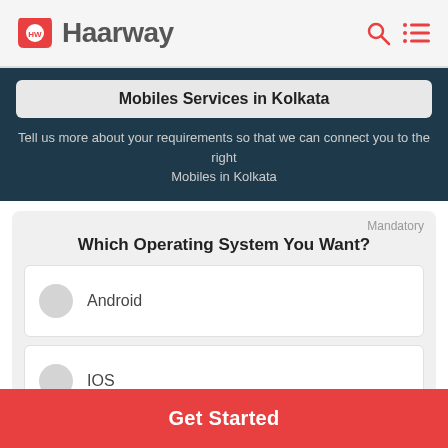[Figure (logo): Haarway logo with red play-button shaped icon and gray text 'Haarway', with search and menu icons on the right]
Mobiles Services in Kolkata
Tell us more about your requirements so that we can connect you to the right Mobiles in Kolkata
Mandatory
Which Operating System You Want?
Android
IOS
Get Started